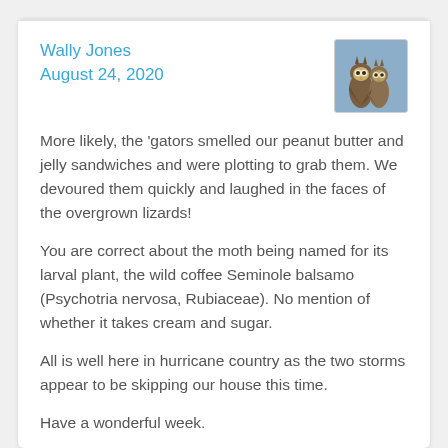Wally Jones
August 24, 2020
[Figure (photo): Small thumbnail photo of two great horned owls perched together against a blue sky background]
More likely, the 'gators smelled our peanut butter and jelly sandwiches and were plotting to grab them. We devoured them quickly and laughed in the faces of the overgrown lizards!
You are correct about the moth being named for its larval plant, the wild coffee Seminole balsamo (Psychotria nervosa, Rubiaceae). No mention of whether it takes cream and sugar.
All is well here in hurricane country as the two storms appear to be skipping our house this time.
Have a wonderful week.
Like
Reply